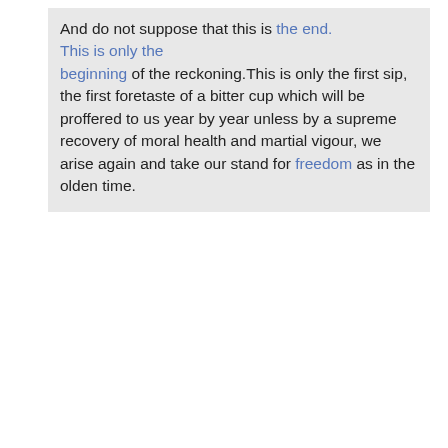And do not suppose that this is the end. This is only the beginning of the reckoning.This is only the first sip, the first foretaste of a bitter cup which will be proffered to us year by year unless by a supreme recovery of moral health and martial vigour, we arise again and take our stand for freedom as in the olden time.
[Figure (infographic): Social sharing bar with icons for Twitter, Facebook, Delicious, Digg, StumbleUpon, Reddit, and 'I like it!' text]
| Never in the field of human conflict | Munich | Chronosynclastic | Winston |
| --- | --- | --- | --- |